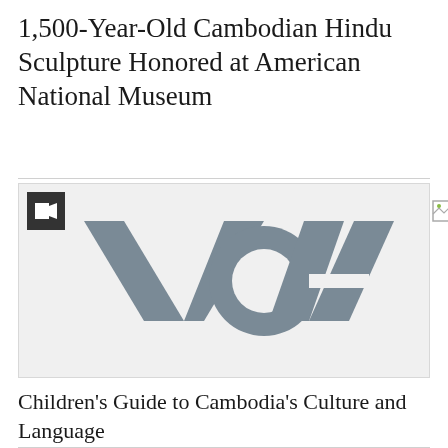1,500-Year-Old Cambodian Hindu Sculpture Honored at American National Museum
[Figure (logo): VOA (Voice of America) logo in gray on light gray background, with a video camera icon in the top left corner and a broken image icon in the top center]
Children's Guide to Cambodia's Culture and Language